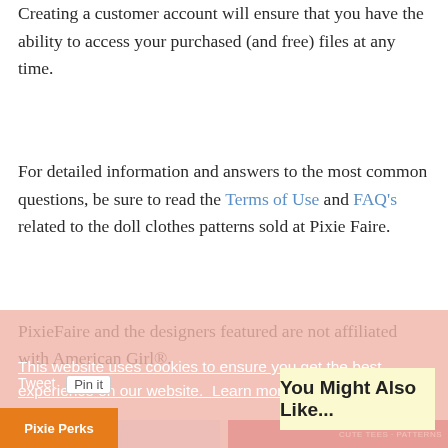Creating a customer account will ensure that you have the ability to access your purchased (and free) files at any time.
For detailed information and answers to the most common questions, be sure to read the Terms of Use and FAQ's related to the doll clothes patterns sold at Pixie Faire.
PixieFaire and the designers featured are not affiliated with American Girl®.
This website uses cookies to ensure you get the best experience on our website. Learn more
Tweet  Pin it
You Might Also Like...
Pixie Perks